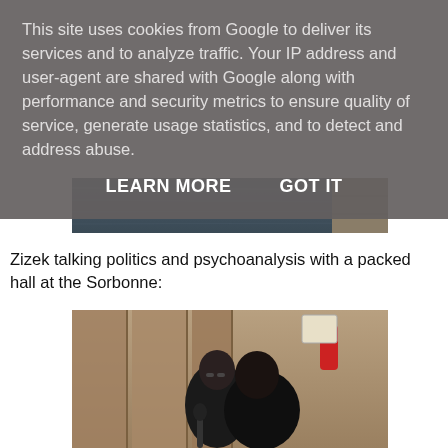This site uses cookies from Google to deliver its services and to analyze traffic. Your IP address and user-agent are shared with Google along with performance and security metrics to ensure quality of service, generate usage statistics, and to detect and address abuse.
LEARN MORE   GOT IT
[Figure (photo): A river or water body with a stone wall or embankment visible]
Zizek talking politics and psychoanalysis with a packed hall at the Sorbonne:
[Figure (photo): Two men at a lecture table at the Sorbonne, with wooden paneling and a fire extinguisher visible in the background]